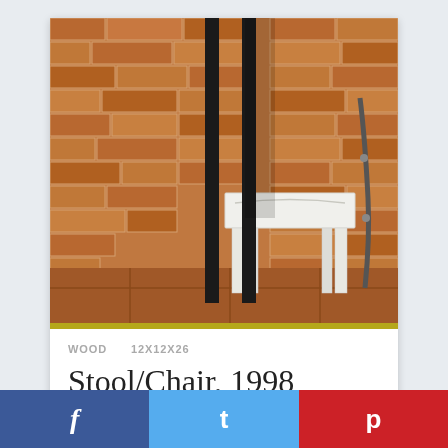[Figure (photo): A white wooden stool/chair placed against a brick wall corner, with black metal railings/bars visible. The stool has a rectangular white painted wooden top and four legs. Brick wall and tiled floor visible in background.]
WOOD    12X12X26
Stool/Chair, 1998